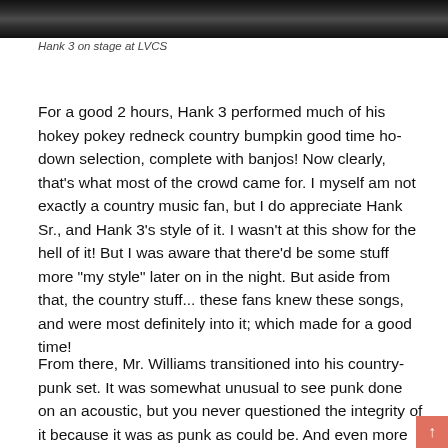[Figure (photo): Black and white photo strip of Hank 3 on stage at LVCS]
Hank 3 on stage at LVCS
For a good 2 hours, Hank 3 performed much of his hokey pokey redneck country bumpkin good time ho-down selection, complete with banjos! Now clearly, that's what most of the crowd came for. I myself am not exactly a country music fan, but I do appreciate Hank Sr., and Hank 3's style of it. I wasn't at this show for the hell of it! But I was aware that there'd be some stuff more "my style" later on in the night. But aside from that, the country stuff... these fans knew these songs, and were most definitely into it; which made for a good time!
From there, Mr. Williams transitioned into his country-punk set. It was somewhat unusual to see punk done on an acoustic, but you never questioned the integrity of it because it was as punk as could be. And even more interesting with a